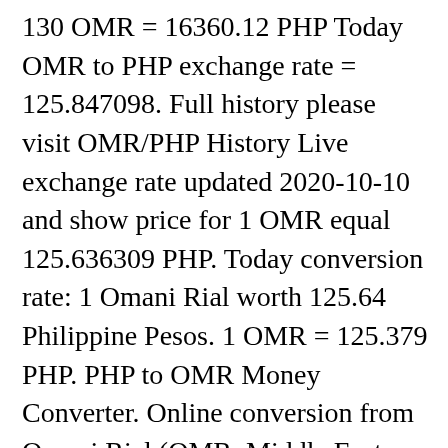130 OMR = 16360.12 PHP Today OMR to PHP exchange rate = 125.847098. Full history please visit OMR/PHP History Live exchange rate updated 2020-10-10 and show price for 1 OMR equal 125.636309 PHP. Today conversion rate: 1 Omani Rial worth 125.64 Philippine Pesos. 1 OMR = 125.379 PHP. PHP to OMR Money Converter. Online conversion from Omani Rial (OMR, Middle East Currencies) to Philippine Peso (PHP, Asian Currencies). 1 OMR = 125.4025 PHP. Select a time frame for the chart; 1 month, 3 months, 6 months, year to day, 1 Year and all available time which varies from 7 to 13 years according to the currency. In June 1986, the riyal was officially pegged to the US Dollar at a fixed exchange rate of 1 U.S. dollar = 3.75 riyals